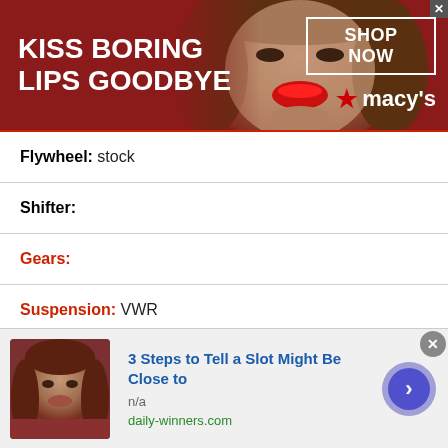[Figure (infographic): Macy's advertisement banner with dark red background, woman's face with red lips, 'KISS BORING LIPS GOODBYE' text, 'SHOP NOW' button, and Macy's star logo]
Flywheel: stock
Shifter:
Gears:
Suspension: VWR
Wheels: VWR
Brake Rotors/Pads: VWR
Tires MT Treaded drag radials
Parts: Golf-R Parts
[Figure (infographic): Advertisement showing a man's photo, '3 Steps to Tell a Slot Might Be Close to' headline in blue, 'n/a' text, 'daily-winners.com' source link in green, and a blue arrow button]